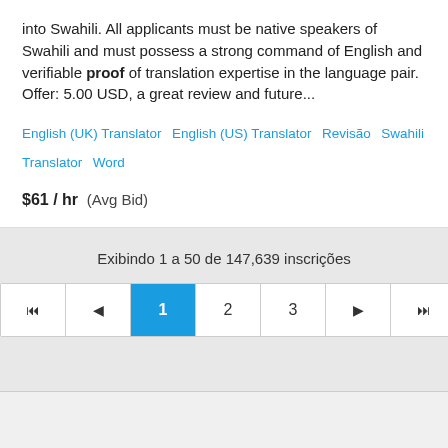into Swahili. All applicants must be native speakers of Swahili and must possess a strong command of English and verifiable proof of translation expertise in the language pair. Offer: 5.00 USD, a great review and future...
English (UK) Translator   English (US) Translator   Revisão   Swahili Translator   Word
$61 / hr  (Avg Bid)
Exibindo 1 a 50 de 147,639 inscrições
[Figure (other): Pagination navigation bar with buttons: first page (|<), previous (<), page 1 (active/highlighted blue), page 2, page 3, next (>), last page (>|)]